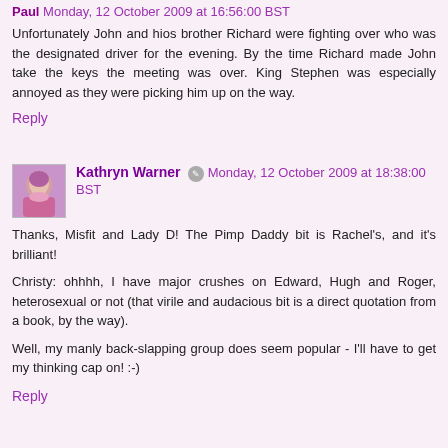Paul  Monday, 12 October 2009 at 16:56:00 BST
Unfortunately John and hios brother Richard were fighting over who was the designated driver for the evening. By the time Richard made John take the keys the meeting was over. King Stephen was especially annoyed as they were picking him up on the way.
Reply
Kathryn Warner  Monday, 12 October 2009 at 18:38:00 BST
Thanks, Misfit and Lady D! The Pimp Daddy bit is Rachel's, and it's brilliant!
Christy: ohhhh, I have major crushes on Edward, Hugh and Roger, heterosexual or not (that virile and audacious bit is a direct quotation from a book, by the way).
Well, my manly back-slapping group does seem popular - I'll have to get my thinking cap on! :-)
Reply